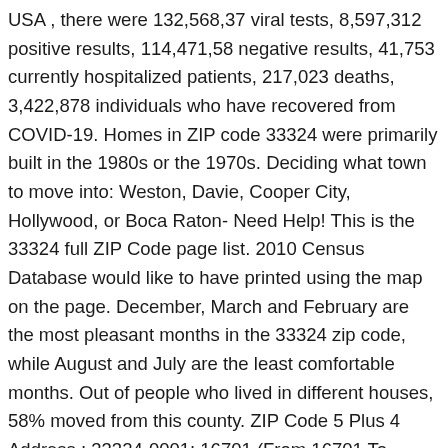USA , there were 132,568,37 viral tests, 8,597,312 positive results, 114,471,58 negative results, 41,753 currently hospitalized patients, 217,023 deaths, 3,422,878 individuals who have recovered from COVID-19. Homes in ZIP code 33324 were primarily built in the 1980s or the 1970s. Deciding what town to move into: Weston, Davie, Cooper City, Hollywood, or Boca Raton- Need Help! This is the 33324 full ZIP Code page list. 2010 Census Database would like to have printed using the map on the page. December, March and February are the most pleasant months in the 33324 zip code, while August and July are the least comfortable months. Out of people who lived in different houses, 58% moved from this county. ZIP Code 5 Plus 4 Address ; 33324-0001: 16701 (From 16701 To 16799 Odd) PLARLINT AVE , DAVIE, FL: 33324-1000: 10001 (From 10001 To 10033 Odd) CLEARY BLVD , PLANTATION, FL ZIP Code Database Get all US ZIP Codes and their information in one easy to use database. Out of people who lived in different houses, 16% moved from different